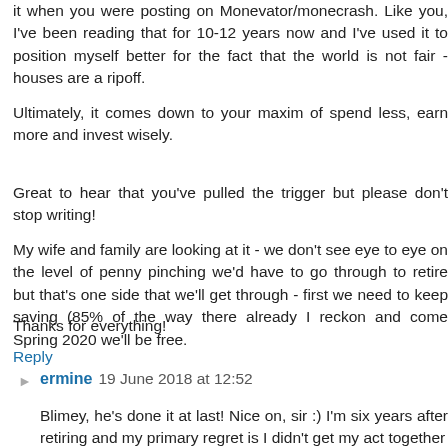it when you were posting on Monevator/monecrash. Like you, I've been reading that for 10-12 years now and I've used it to position myself better for the fact that the world is not fair - houses are a ripoff.
Ultimately, it comes down to your maxim of spend less, earn more and invest wisely.
Great to hear that you've pulled the trigger but please don't stop writing!
My wife and family are looking at it - we don't see eye to eye on the level of penny pinching we'd have to go through to retire but that's one side that we'll get through - first we need to keep saving (85% of the way there already I reckon and come Spring 2020 we'll be free.
Thanks for everything!
Reply
ermine  19 June 2018 at 12:52
Blimey, he's done it at last! Nice on, sir :) I'm six years after retiring and my primary regret is I didn't get my act together